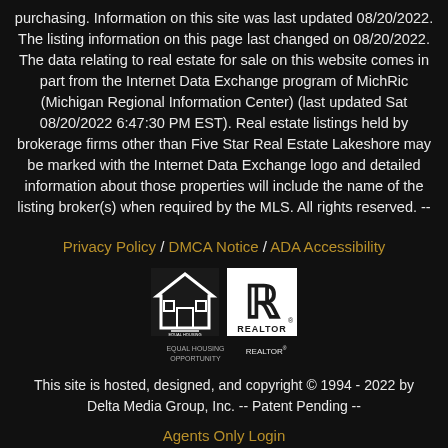purchasing. Information on this site was last updated 08/20/2022. The listing information on this page last changed on 08/20/2022. The data relating to real estate for sale on this website comes in part from the Internet Data Exchange program of MichRic (Michigan Regional Information Center) (last updated Sat 08/20/2022 6:47:30 PM EST). Real estate listings held by brokerage firms other than Five Star Real Estate Lakeshore may be marked with the Internet Data Exchange logo and detailed information about those properties will include the name of the listing broker(s) when required by the MLS. All rights reserved. --
Privacy Policy / DMCA Notice / ADA Accessibility
[Figure (logo): Equal Housing Opportunity logo and REALTOR logo side by side]
This site is hosted, designed, and copyright © 1994 - 2022 by Delta Media Group, Inc. -- Patent Pending --
Agents Only Login